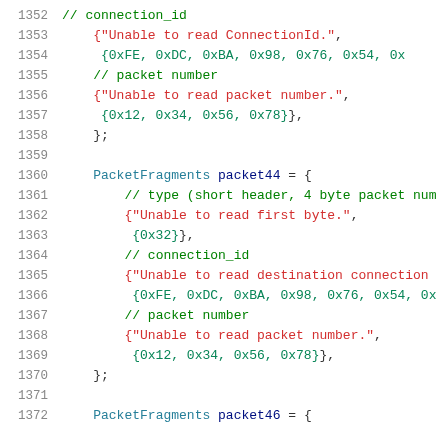1352  // connection_id
1353  {"Unable to read ConnectionId.",
1354   {0xFE, 0xDC, 0xBA, 0x98, 0x76, 0x54, 0x...
1355  // packet number
1356  {"Unable to read packet number.",
1357   {0x12, 0x34, 0x56, 0x78}},
1358  };
1359  
1360  PacketFragments packet44 = {
1361  // type (short header, 4 byte packet num...
1362  {"Unable to read first byte.",
1363   {0x32}},
1364  // connection_id
1365  {"Unable to read destination connection...
1366   {0xFE, 0xDC, 0xBA, 0x98, 0x76, 0x54, 0x...
1367  // packet number
1368  {"Unable to read packet number.",
1369   {0x12, 0x34, 0x56, 0x78}},
1370  };
1371  
1372  PacketFragments packet46 = {